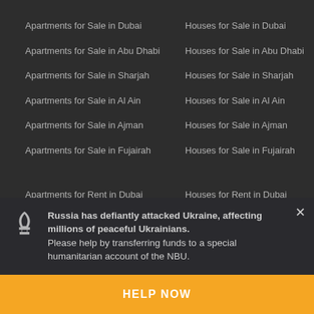Apartments for Sale in Dubai
Apartments for Sale in Abu Dhabi
Apartments for Sale in Sharjah
Apartments for Sale in Al Ain
Apartments for Sale in Ajman
Apartments for Sale in Fujairah
Apartments for Rent in Dubai
Houses for Sale in Dubai
Houses for Sale in Abu Dhabi
Houses for Sale in Sharjah
Houses for Sale in Al Ain
Houses for Sale in Ajman
Houses for Sale in Fujairah
Houses for Rent in Dubai
Russia has defiantly attacked Ukraine, affecting millions of peaceful Ukrainians.
Please help by transferring funds to a special humanitarian account of the NBU.
HELP NOW